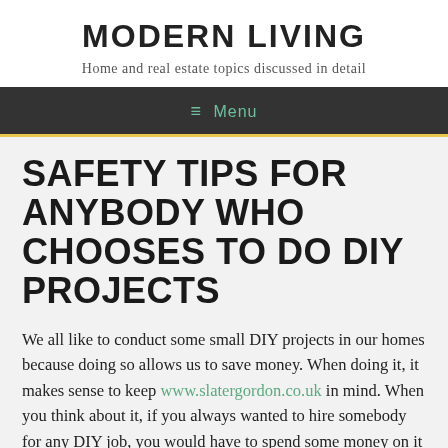MODERN LIVING
Home and real estate topics discussed in detail
≡ Menu
SAFETY TIPS FOR ANYBODY WHO CHOOSES TO DO DIY PROJECTS
We all like to conduct some small DIY projects in our homes because doing so allows us to save money. When doing it, it makes sense to keep www.slatergordon.co.uk in mind. When you think about it, if you always wanted to hire somebody for any DIY job, you would have to spend some money on it and the costs would definitely add up. For this reason, it is a good idea to do as much as you can do yourself.